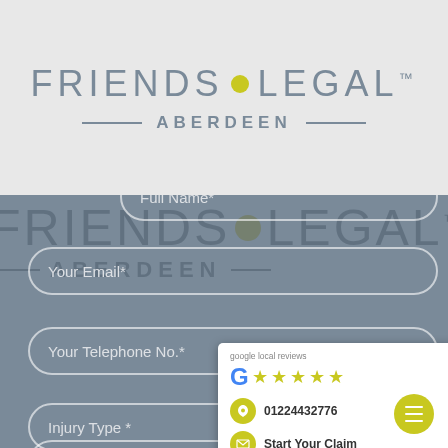[Figure (logo): Friends Legal Aberdeen logo with yellow dot between FRIENDS and LEGAL text, TM mark, and ABERDEEN subtitle with decorative rules]
[Figure (screenshot): Website contact form on grey-blue background with fields: Full Name, Your Email, Your Telephone No., Injury Type, and a partially visible bottom field. Watermark of Friends Legal Aberdeen logo is overlaid. A white popup card shows Google local reviews with 5 stars, phone number 01224432776, and Start Your Claim button. Yellow circular menu button in bottom right.]